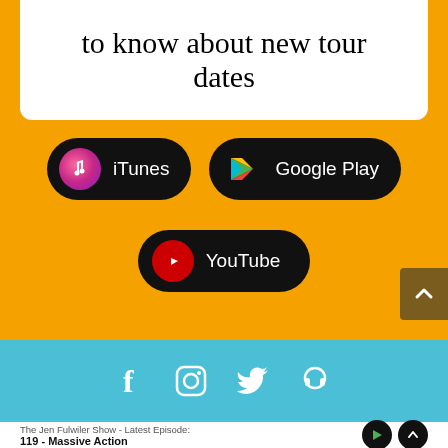to know about new tour dates
[Figure (screenshot): iTunes app store button with music note icon]
[Figure (screenshot): Google Play store button with play triangle icon]
[Figure (screenshot): YouTube button with YouTube logo icon]
[Figure (infographic): Social media icon bar with Facebook, Instagram, Twitter, and podcast icons on blue background]
The Jen Fulwiler Show - Latest Episode:
119 - Massive Action